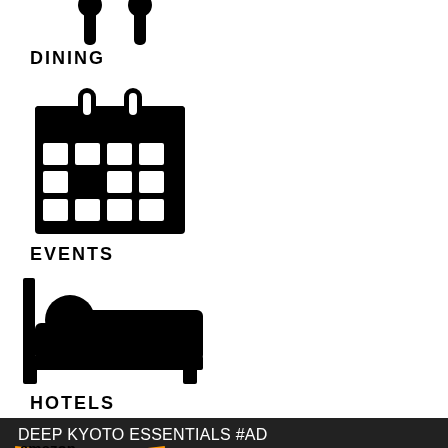[Figure (illustration): Dining icon - two fork/spoon icons at the top (partially cut off)]
DINING
[Figure (illustration): Calendar icon with grid of date squares, representing Events]
EVENTS
[Figure (illustration): Hotel/bed icon showing a person sleeping in a bed with headboard]
HOTELS
DEEP KYOTO ESSENTIALS #AD
[Figure (logo): Amazon logo partially visible at bottom]